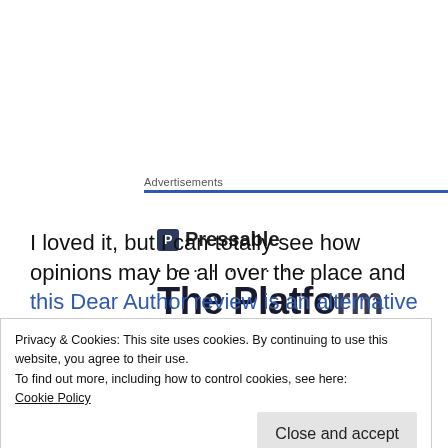Advertisements
[Figure (logo): Pressable logo with dark square icon containing letter P and bold text 'Pressable', followed by dots and partial heading 'The Platform']
I loved it, but I can totally see how opinions may be all over the place and this Dear Author review is an alternative take on the book. What works
Privacy & Cookies: This site uses cookies. By continuing to use this website, you agree to their use.
To find out more, including how to control cookies, see here:
Cookie Policy
Close and accept